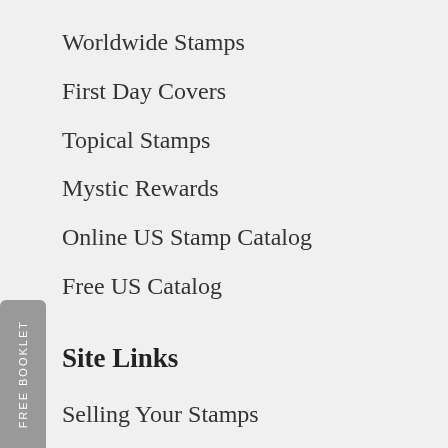Worldwide Stamps
First Day Covers
Topical Stamps
Mystic Rewards
Online US Stamp Catalog
Free US Catalog
Site Links
Selling Your Stamps
Respond to an Ad
Quick Order Form
Stamp ID Service